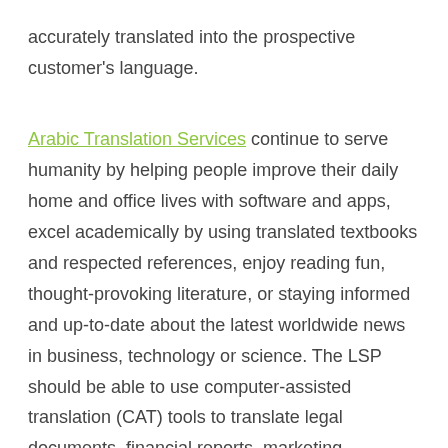accurately translated into the prospective customer's language.
Arabic Translation Services continue to serve humanity by helping people improve their daily home and office lives with software and apps, excel academically by using translated textbooks and respected references, enjoy reading fun, thought-provoking literature, or staying informed and up-to-date about the latest worldwide news in business, technology or science. The LSP should be able to use computer-assisted translation (CAT) tools to translate legal documents, financial reports, marketing materials, and other content that keeps the influence of Arabic translation strong.